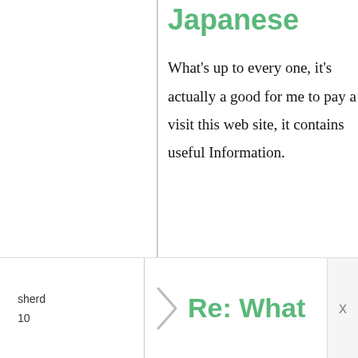Japanese
What's up to every one, it's actually a good for me to pay a visit this web site, it contains useful Information.
sherd
10
Re: What